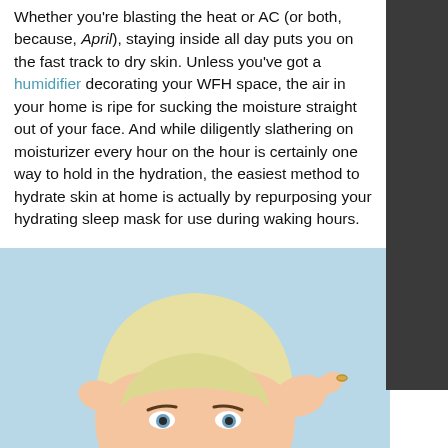Whether you're blasting the heat or AC (or both, because, April), staying inside all day puts you on the fast track to dry skin. Unless you've got a humidifier decorating your WFH space, the air in your home is ripe for sucking the moisture straight out of your face. And while diligently slathering on moisturizer every hour on the hour is certainly one way to hold in the hydration, the easiest method to hydrate skin at home is actually by repurposing your hydrating sleep mask for use during waking hours.
[Figure (photo): A person peeking out from under a light yellow face mask or cloth, against a light blue background, showing only their eyes and forehead area.]